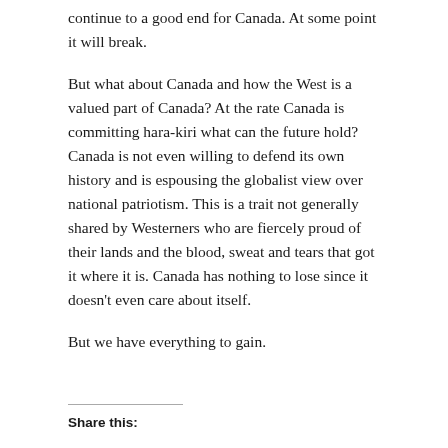continue to a good end for Canada. At some point it will break.
But what about Canada and how the West is a valued part of Canada? At the rate Canada is committing hara-kiri what can the future hold? Canada is not even willing to defend its own history and is espousing the globalist view over national patriotism. This is a trait not generally shared by Westerners who are fiercely proud of their lands and the blood, sweat and tears that got it where it is. Canada has nothing to lose since it doesn't even care about itself.
But we have everything to gain.
Share this: